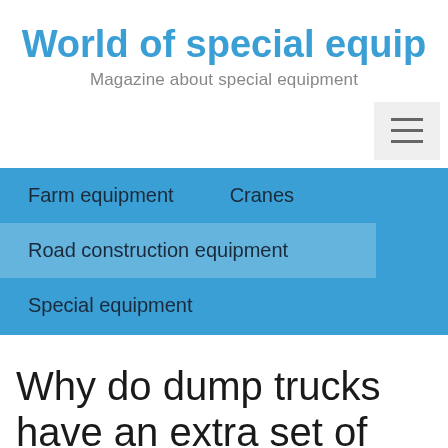World of special equip
Magazine about special equipment
Farm equipment
Cranes
Road construction equipment
Special equipment
Why do dump trucks have an extra set of